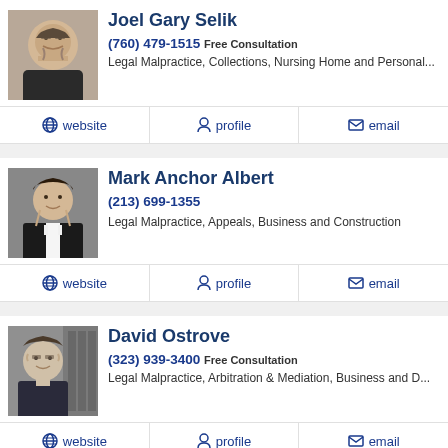[Figure (photo): Headshot of Joel Gary Selik, man with glasses and beard in suit]
Joel Gary Selik
(760) 479-1515 Free Consultation
Legal Malpractice, Collections, Nursing Home and Personal...
website | profile | email
[Figure (photo): Headshot of Mark Anchor Albert, man in tuxedo]
Mark Anchor Albert
(213) 699-1355
Legal Malpractice, Appeals, Business and Construction
website | profile | email
[Figure (photo): Headshot of David Ostrove, older man with glasses in suit, law books background]
David Ostrove
(323) 939-3400 Free Consultation
Legal Malpractice, Arbitration & Mediation, Business and D...
website | profile | email